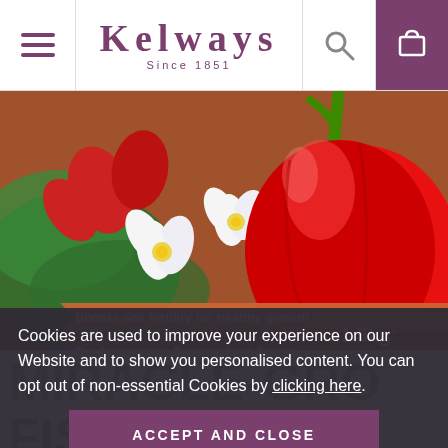Kelways Since 1851
[Figure (photo): Product image showing flowers and a red bell pepper with text banners: 'Boosts soil fertility for healthy growth', 'Produces more flowers, fruit & veg', 'Easy to use pellets', '1.5kg']
Cookies are used to improve your experience on our Website and to show you personalised content. You can opt out of non-essential Cookies by clicking here.
ACCEPT AND CLOSE
MIRACLE-GRO FISH, BL... PURPOSE PLANT FOOD